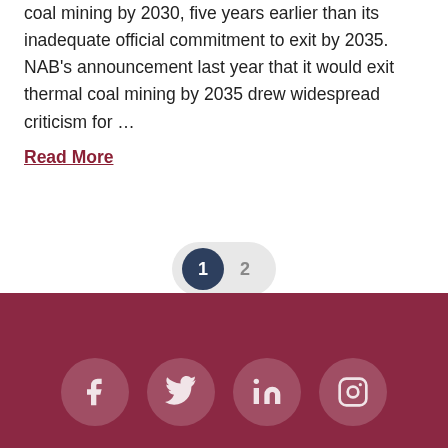coal mining by 2030, five years earlier than its inadequate official commitment to exit by 2035. NAB's announcement last year that it would exit thermal coal mining by 2035 drew widespread criticism for …
Read More
[Figure (other): Pagination control showing page 1 (active, dark circle) and page 2 (inactive) inside a rounded pill-shaped container]
Social media icons: Facebook, Twitter, LinkedIn, Instagram on a dark red background